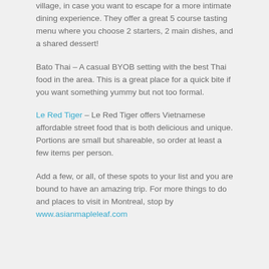village, in case you want to escape for a more intimate dining experience. They offer a great 5 course tasting menu where you choose 2 starters, 2 main dishes, and a shared dessert!
Bato Thai – A casual BYOB setting with the best Thai food in the area. This is a great place for a quick bite if you want something yummy but not too formal.
Le Red Tiger – Le Red Tiger offers Vietnamese affordable street food that is both delicious and unique. Portions are small but shareable, so order at least a few items per person.
Add a few, or all, of these spots to your list and you are bound to have an amazing trip. For more things to do and places to visit in Montreal, stop by www.asianmapleleaf.com